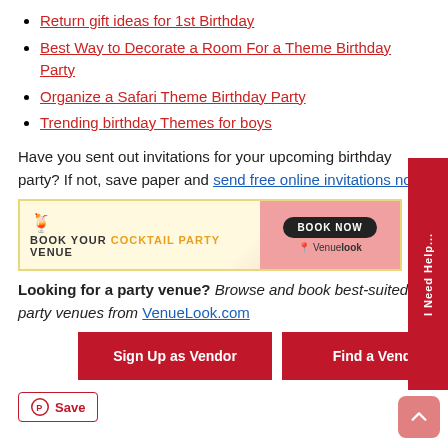Return gift ideas for 1st Birthday
Best Way to Decorate a Room For a Theme Birthday Party
Organize a Safari Theme Birthday Party
Trending birthday Themes for boys
Have you sent out invitations for your upcoming birthday party? If not, save paper and send free online invitations now.
[Figure (infographic): Advertisement banner: BOOK YOUR COCKTAIL PARTY VENUE with a BOOK NOW button and VenueLook logo]
Looking for a party venue? Browse and book best-suited party venues from VenueLook.com
Sign Up as Vendor | Find a Vendor
Save